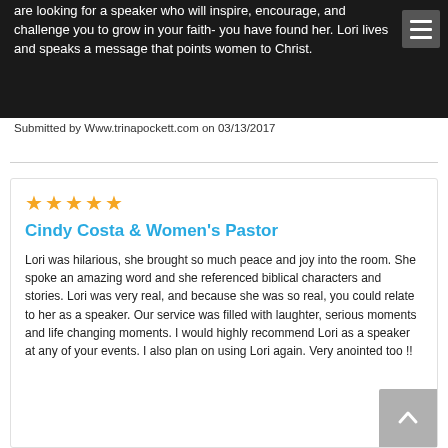are looking for a speaker who will inspire, encourage, and challenge you to grow in your faith- you have found her. Lori lives and speaks a message that points women to Christ.
Submitted by Www.trinapockett.com on 03/13/2017
★★★★★
Cindy Costa & Women's Pastor
Lori was hilarious, she brought so much peace and joy into the room. She spoke an amazing word and she referenced biblical characters and stories. Lori was very real, and because she was so real, you could relate to her as a speaker. Our service was filled with laughter, serious moments and life changing moments. I would highly recommend Lori as a speaker at any of your events. I also plan on using Lori again. Very anointed too !!